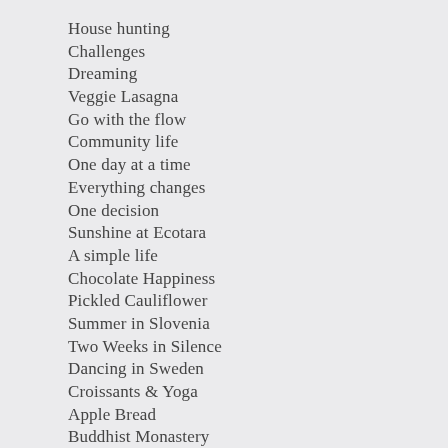House hunting
Challenges
Dreaming
Veggie Lasagna
Go with the flow
Community life
One day at a time
Everything changes
One decision
Sunshine at Ecotara
A simple life
Chocolate Happiness
Pickled Cauliflower
Summer in Slovenia
Two Weeks in Silence
Dancing in Sweden
Croissants & Yoga
Apple Bread
Buddhist Monastery
Let the journey begin